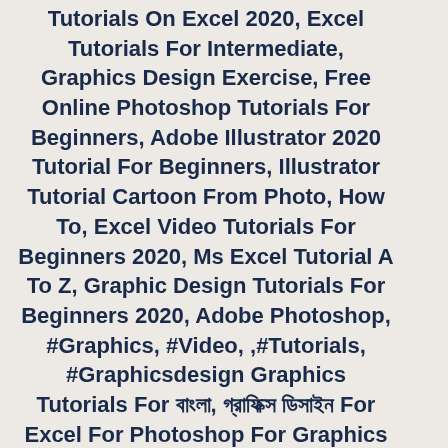Tutorials On Excel 2020, Excel Tutorials For Intermediate, Graphics Design Exercise, Free Online Photoshop Tutorials For Beginners, Adobe Illustrator 2020 Tutorial For Beginners, Illustrator Tutorial Cartoon From Photo, How To, Excel Video Tutorials For Beginners 2020, Ms Excel Tutorial A To Z, Graphic Design Tutorials For Beginners 2020, Adobe Photoshop, #Graphics, #Video, ,#Tutorials, #Graphicsdesign Graphics Tutorials For বাংলা, গ্রাফিক্স ডিজাইন For Excel For Photoshop For Graphics For Illustrator For বাংলাদেশ, Video Tutorials For